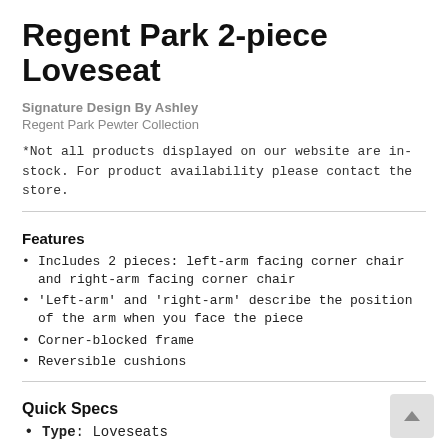Regent Park 2-piece Loveseat
Signature Design By Ashley
Regent Park Pewter Collection
*Not all products displayed on our website are in-stock. For product availability please contact the store.
Features
Includes 2 pieces: left-arm facing corner chair and right-arm facing corner chair
'Left-arm' and 'right-arm' describe the position of the arm when you face the piece
Corner-blocked frame
Reversible cushions
Quick Specs
Type: Loveseats
See More